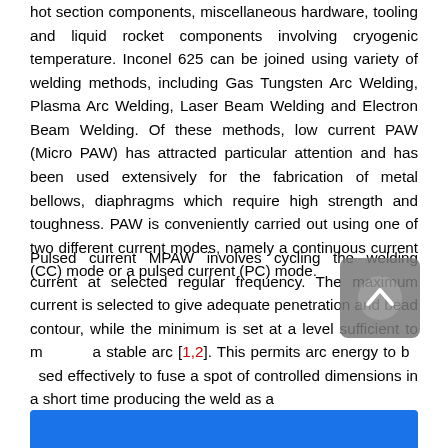hot section components, miscellaneous hardware, tooling and liquid rocket components involving cryogenic temperature. Inconel 625 can be joined using variety of welding methods, including Gas Tungsten Arc Welding, Plasma Arc Welding, Laser Beam Welding and Electron Beam Welding. Of these methods, low current PAW (Micro PAW) has attracted particular attention and has been used extensively for the fabrication of metal bellows, diaphragms which require high strength and toughness. PAW is conveniently carried out using one of two different current modes, namely a continuous current (CC) mode or a pulsed current (PC) mode.
Pulsed current MPAW involves cycling the welding current at selected regular frequency. The maximum current is selected to give adequate penetration and bead contour, while the minimum is set at a level sufficient to maintain a stable arc [1,2]. This permits arc energy to be used effectively to fuse a spot of controlled dimensions in a short time producing the weld as a...